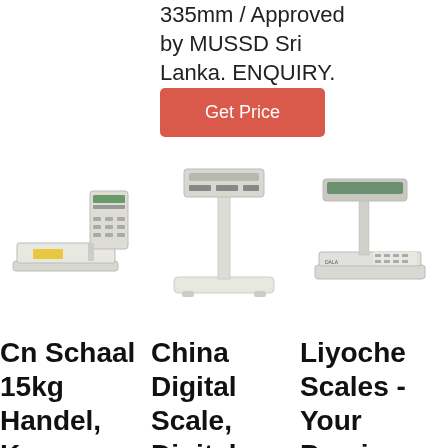335mm / Approved by MUSSD Sri Lanka. ENQUIRY.
[Figure (other): Red 'Get Price' button]
[Figure (photo): Cn Schaal 15kg Handel digital scale with printer]
[Figure (photo): China Digital Scale, Digital floor scale on pole stand]
[Figure (photo): Liyoche Scales digital scale with display pole]
Cn Schaal 15kg Handel, Keep
China Digital Scale, Digital
Liyoche Scales - Your Preciso